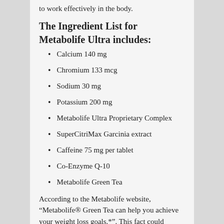to work effectively in the body.
The Ingredient List for Metabolife Ultra includes:
Calcium 140 mg
Chromium 133 mcg
Sodium 30 mg
Potassium 200 mg
Metabolife Ultra Proprietary Complex
SuperCitriMax Garcinia extract
Caffeine 75 mg per tablet
Co-Enzyme Q-10
Metabolife Green Tea
According to the Metabolife website, “Metabolife® Green Tea can help you achieve your weight loss goals.*”. This fact could possibly hold come weight. Several scientific studies have proven the health benefits of green tea in relation to weight loss and other health benefits. But, the lack of disclosure